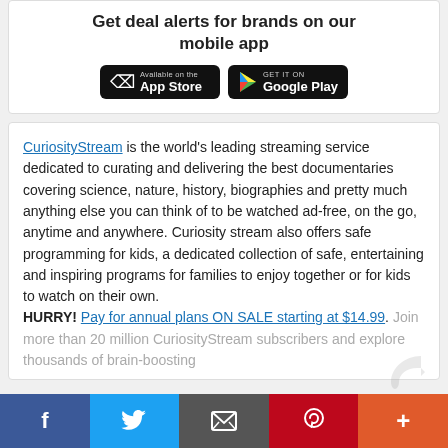Get deal alerts for brands on our mobile app
[Figure (logo): App Store and Google Play download buttons]
CuriosityStream is the world's leading streaming service dedicated to curating and delivering the best documentaries covering science, nature, history, biographies and pretty much anything else you can think of to be watched ad-free, on the go, anytime and anywhere. Curiosity stream also offers safe programming for kids, a dedicated collection of safe, entertaining and inspiring programs for families to enjoy together or for kids to watch on their own. HURRY! Pay for annual plans ON SALE starting at $14.99. Join more than 20 million CuriosityStream subscribers and explore thousands of brain-boosting
[Figure (infographic): Social share bar with Facebook, Twitter, Email, Pinterest, and More buttons]